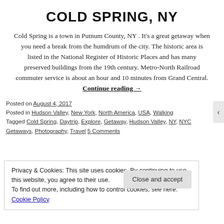COLD SPRING, NY
Cold Spring is a town in Putnum County, NY . It's a great getaway when you need a break from the humdrum of the city. The historic area is listed in the National Register of Historic Places and has many preserved buildings from the 19th century. Metro-North Railroad commuter service is about an hour and 10 minutes from Grand Central. Continue reading →
Posted on August 4, 2017
Posted in Hudson Valley, New York, North America, USA, Walking
Tagged Cold Spring, Daytrip, Explore, Getaway, Hudson Valley, NY, NYC Getaways, Photography, Travel 5 Comments
Privacy & Cookies: This site uses cookies. By continuing to use this website, you agree to their use.
To find out more, including how to control cookies, see here: Cookie Policy
Close and accept